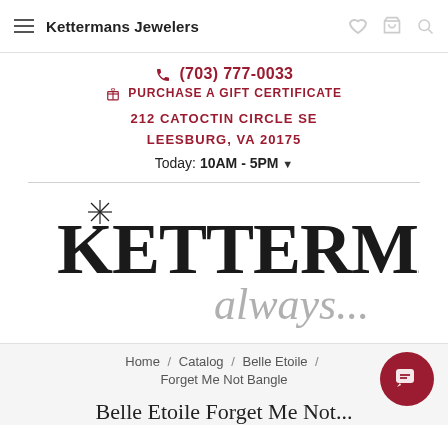Kettermans Jewelers
(703) 777-0033
PURCHASE A GIFT CERTIFICATE
212 CATOCTIN CIRCLE SE
LEESBURG, VA 20175
Today: 10AM - 5PM
[Figure (logo): Ketterman's always... jeweler logo in black serif and grey script]
Home / Catalog / Belle Etoile / Forget Me Not Bangle
Belle Etoile Forget Me Not...